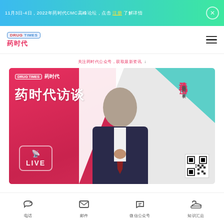11月3日-4日，2022年药时代CMC高峰论坛，点击注册
[Figure (logo): Drug Times (药时代) logo with blue badge and red Chinese characters]
[Figure (photo): 药时代访谈 LIVE banner featuring a man in suit with glasses (漆又毛博士, 奥默医药创始人、董事长), red/teal/white background with LIVE icon and QR code]
电话 | 邮件 | 微信公众号 | 知识汇总